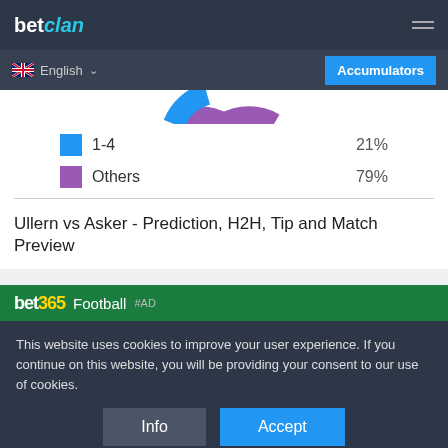betclan
English
Accumulators
[Figure (donut-chart): Score prediction chart]
1-4  21%
Others  79%
Ullern vs Asker - Prediction, H2H, Tip and Match Preview
bet365  Football  #AD
This website uses cookies to improve your user experience. If you continue on this website, you will be providing your consent to our use of cookies.
Info
Accept